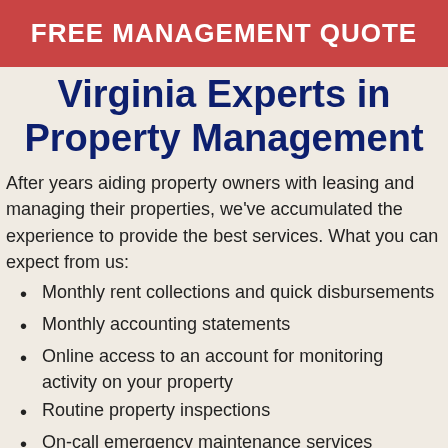FREE MANAGEMENT QUOTE
Virginia Experts in Property Management
After years aiding property owners with leasing and managing their properties, we've accumulated the experience to provide the best services. What you can expect from us:
Monthly rent collections and quick disbursements
Monthly accounting statements
Online access to an account for monitoring activity on your property
Routine property inspections
On-call emergency maintenance services available 24/7/365